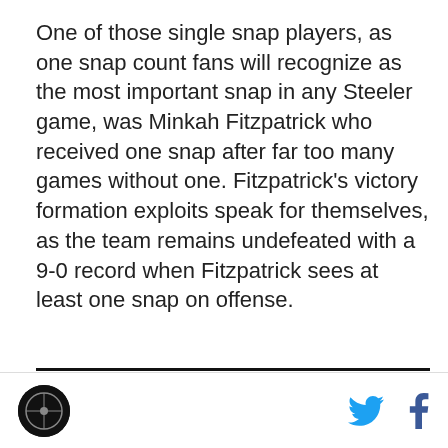One of those single snap players, as one snap count fans will recognize as the most important snap in any Steeler game, was Minkah Fitzpatrick who received one snap after far too many games without one. Fitzpatrick's victory formation exploits speak for themselves, as the team remains undefeated with a 9-0 record when Fitzpatrick sees at least one snap on offense.
Defense
|  | Def. | ST |
| --- | --- | --- |
Logo | Twitter | Facebook